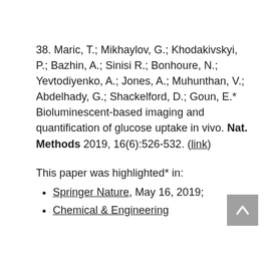38. Maric, T.; Mikhaylov, G.; Khodakivskyi, P.; Bazhin, A.; Sinisi R.; Bonhoure, N.; Yevtodiyenko, A.; Jones, A.; Muhunthan, V.; Abdelhady, G.; Shackelford, D.; Goun, E.* Bioluminescent-based imaging and quantification of glucose uptake in vivo. Nat. Methods 2019, 16(6):526-532. (link)
This paper was highlighted* in:
Springer Nature, May 16, 2019;
Chemical & Engineering